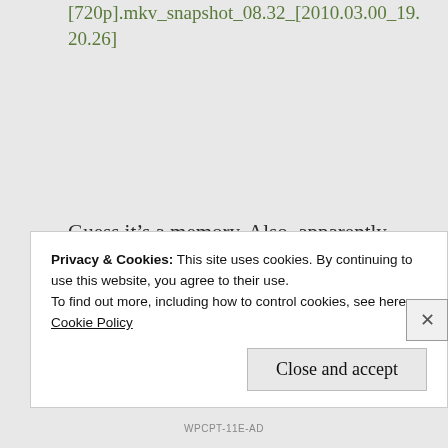[720p].mkv_snapshot_08.32_[2010.03.00_19.20.26]
Guess it’s a memory. Also, apparently Salva is self-aware.
[Figure (other): Broken image icon followed by partial green link text: [HorribleSubs] Dimension W - 09]
Privacy & Cookies: This site uses cookies. By continuing to use this website, you agree to their use.
To find out more, including how to control cookies, see here:
Cookie Policy
Close and accept
WPCPT-11E-AD